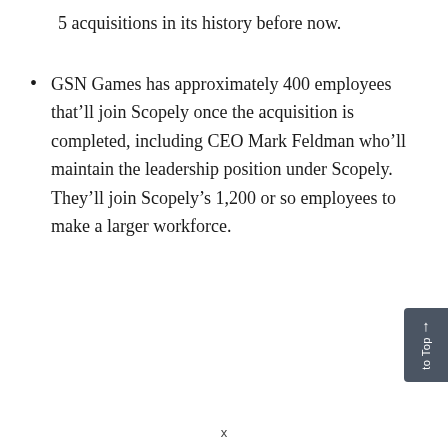5 acquisitions in its history before now.
GSN Games has approximately 400 employees that’ll join Scopely once the acquisition is completed, including CEO Mark Feldman who’ll maintain the leadership position under Scopely. They’ll join Scopely’s 1,200 or so employees to make a larger workforce.